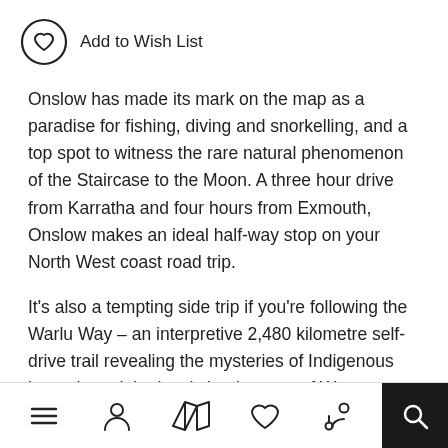Add to Wish List
Onslow has made its mark on the map as a paradise for fishing, diving and snorkelling, and a top spot to witness the rare natural phenomenon of the Staircase to the Moon. A three hour drive from Karratha and four hours from Exmouth, Onslow makes an ideal half-way stop on your North West coast road trip.
It's also a tempting side trip if you're following the Warlu Way – an interpretive 2,480 kilometre self-drive trail revealing the mysteries of Indigenous legends and the iconic landscapes of Western Australia's Gascoyne, Pilbara and Kimberley